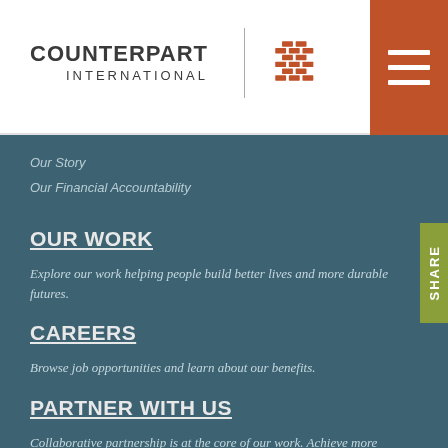[Figure (logo): Counterpart International logo with woven basket-like orange circular icon and text 'COUNTERPART INTERNATIONAL']
[Figure (other): Orange hamburger menu button with three white horizontal lines]
Our Story
Our Financial Accountability
OUR WORK
Explore our work helping people build better lives and more durable futures.
CAREERS
Browse job opportunities and learn about our benefits.
PARTNER WITH US
Collaborative partnership is at the core of our work. Achieve more with us.